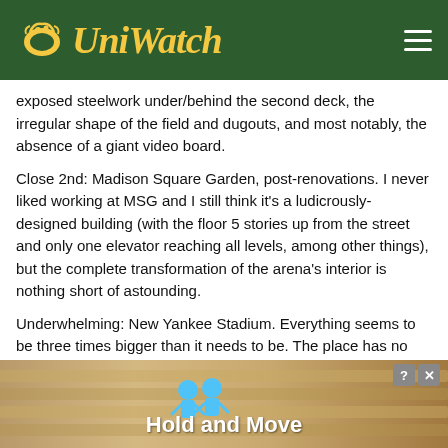UniWatch
exposed steelwork under/behind the second deck, the irregular shape of the field and dugouts, and most notably, the absence of a giant video board.
Close 2nd: Madison Square Garden, post-renovations. I never liked working at MSG and I still think it's a ludicrously-designed building (with the floor 5 stories up from the street and only one elevator reaching all levels, among other things), but the complete transformation of the arena's interior is nothing short of astounding.
Underwhelming: New Yankee Stadium. Everything seems to be three times bigger than it needs to be. The place has no character apart from its sheer bigness.
KT
December 11, 2014 at 4:09 pm
The thing about Wrigley is this: if you go once (or for the first
If yo                                                                se of
time...
[Figure (screenshot): Advertisement overlay with 'Hold and Move' text and cartoon figures]